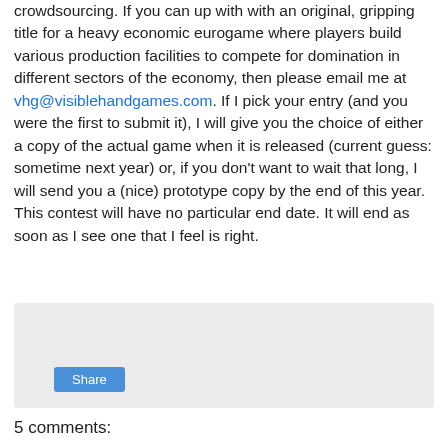crowdsourcing. If you can up with with an original, gripping title for a heavy economic eurogame where players build various production facilities to compete for domination in different sectors of the economy, then please email me at vhg@visiblehandgames.com. If I pick your entry (and you were the first to submit it), I will give you the choice of either a copy of the actual game when it is released (current guess: sometime next year) or, if you don't want to wait that long, I will send you a (nice) prototype copy by the end of this year. This contest will have no particular end date. It will end as soon as I see one that I feel is right.
[Figure (other): Share button widget area with light grey background]
5 comments:
Anonymous 10:31 PM
Dwarves of Sloth? :P